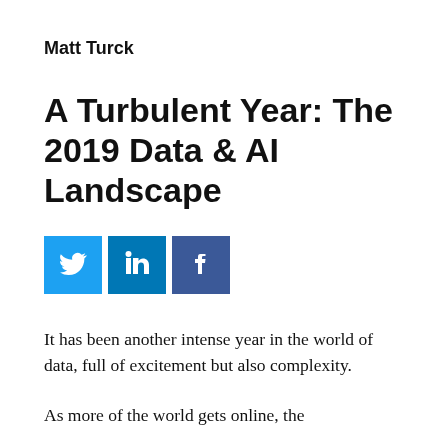Matt Turck
A Turbulent Year: The 2019 Data & AI Landscape
[Figure (infographic): Three social media share buttons: Twitter (light blue), LinkedIn (medium blue), Facebook (dark blue), each with their respective icons.]
It has been another intense year in the world of data, full of excitement but also complexity.
As more of the world gets online, the